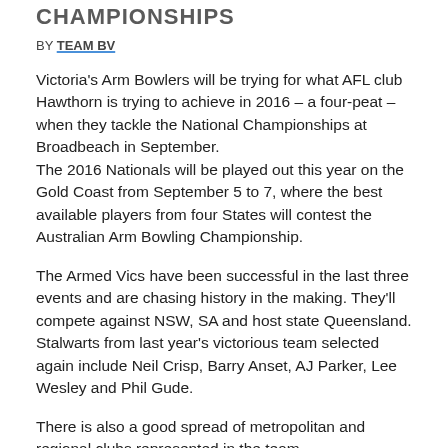CHAMPIONSHIPS
BY TEAM BV
Victoria's Arm Bowlers will be trying for what AFL club Hawthorn is trying to achieve in 2016 – a four-peat – when they tackle the National Championships at Broadbeach in September.
The 2016 Nationals will be played out this year on the Gold Coast from September 5 to 7, where the best available players from four States will contest the Australian Arm Bowling Championship.
The Armed Vics have been successful in the last three events and are chasing history in the making. They'll compete against NSW, SA and host state Queensland. Stalwarts from last year's victorious team selected again include Neil Crisp, Barry Anset, AJ Parker, Lee Wesley and Phil Gude.
There is also a good spread of metropolitan and regional clubs represented in the team.